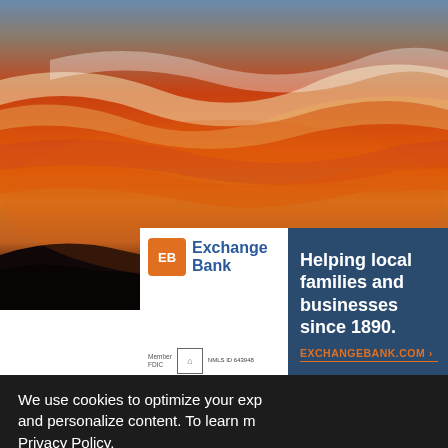[Figure (photo): Dramatic sunset sky with vivid red, orange, and white streaked clouds over dark silhouetted hills]
[Figure (other): Exchange Bank advertisement: logo on white left panel, 'Helping local families and businesses since 1890.' tagline on dark navy right panel with EXCHANGEBANK.COM link. Member FDIC, Equal Housing Lender, NMLS ID 643948.]
Sunse
We use cookies to optimize your exp and personalize content. To learn m Privacy Policy.
Cookie Settings
READ PREVIOUS POST:
Oh Snap! Sco Healdsburg
Popular Italian restauran Rosen is closing in April